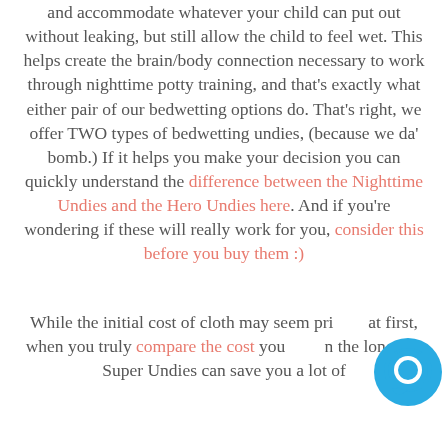and accommodate whatever your child can put out without leaking, but still allow the child to feel wet. This helps create the brain/body connection necessary to work through nighttime potty training, and that's exactly what either pair of our bedwetting options do. That's right, we offer TWO types of bedwetting undies, (because we da' bomb.) If it helps you make your decision you can quickly understand the difference between the Nighttime Undies and the Hero Undies here. And if you're wondering if these will really work for you, consider this before you buy them :)
While the initial cost of cloth may seem pricy at first, when you truly compare the cost you'll find in the long run Super Undies can save you a lot of money. Here are the numbers...